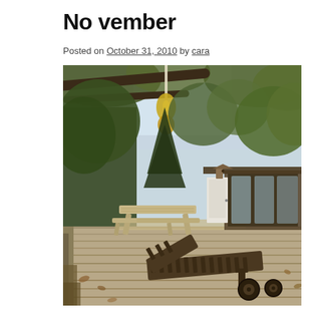No vember
Posted on October 31, 2010 by cara
[Figure (photo): Outdoor wooden deck with a picnic table, a wooden lounge chair on wheels, trees with branches overhead, a wind chime or hanging ornament, and a small wooden structure with glass panels (greenhouse or sunroom) in the background. Autumn setting with fallen leaves.]